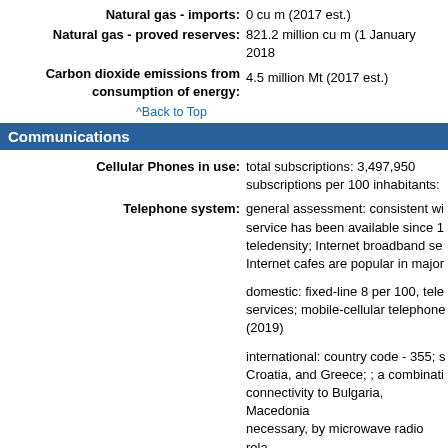Natural gas - imports: 0 cu m (2017 est.)
Natural gas - proved reserves: 821.2 million cu m (1 January 2018)
Carbon dioxide emissions from consumption of energy: 4.5 million Mt (2017 est.)
^Back to Top
Communications
Cellular Phones in use: total subscriptions: 3,497,950 subscriptions per 100 inhabitants:
Telephone system: general assessment: consistent with service has been available since 1 teledensity; Internet broadband ser Internet cafes are popular in major
domestic: fixed-line 8 per 100, tele services; mobile-cellular telephone (2019)
international: country code - 355; s Croatia, and Greece; ; a combinati connectivity to Bulgaria, Macedonia necessary, by microwave radio rela
Broadcast media: Albania has more than 65 TV stato also available to Albanian-speaking Greek TV broadcasts via terrestrial conversion from analog to digital b low-income families affected by thi 78 private radio stations; several ir